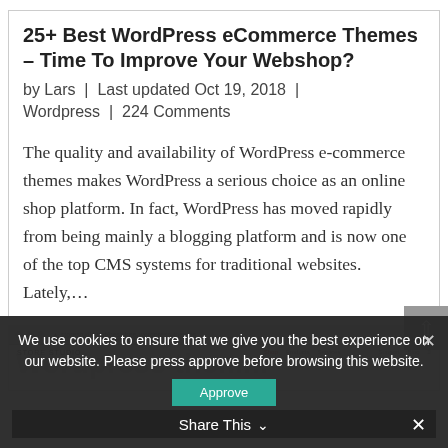25+ Best WordPress eCommerce Themes – Time To Improve Your Webshop?
by Lars | Last updated Oct 19, 2018 | Wordpress | 224 Comments
The quality and availability of WordPress e-commerce themes makes WordPress a serious choice as an online shop platform. In fact, WordPress has moved rapidly from being mainly a blogging platform and is now one of the top CMS systems for traditional websites. Lately,...
[Figure (screenshot): Screenshot of a website showing Store Studio navigation bar with menu items including Shop, Products, Services, Support, Blog]
Wordpress themes...
We use cookies to ensure that we give you the best experience on our website. Please press approve before browsing this website.
Approve
Share This